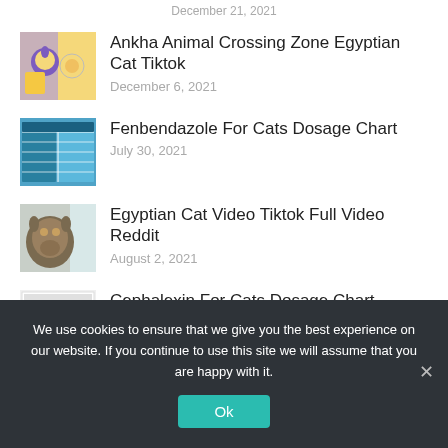December 21, 2021
Ankha Animal Crossing Zone Egyptian Cat Tiktok
December 6, 2021
Fenbendazole For Cats Dosage Chart
July 30, 2021
Egyptian Cat Video Tiktok Full Video Reddit
August 2, 2021
Cephalexin For Cats Dosage Chart
February 19, 2022
We use cookies to ensure that we give you the best experience on our website. If you continue to use this site we will assume that you are happy with it.
Ok